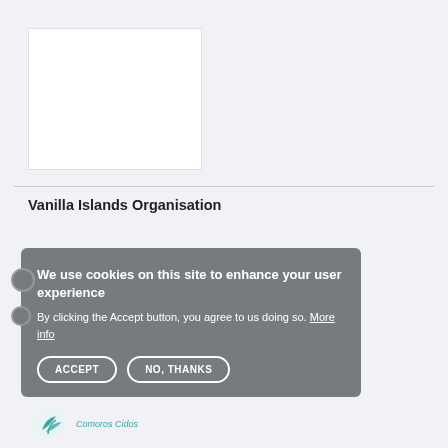[Figure (illustration): White rectangular image placeholder on light grey background]
Vanilla Islands Organisation
We use cookies on this site to enhance your user experience
By clicking the Accept button, you agree to us doing so. More info
ACCEPT   NO, THANKS
[Figure (logo): Comoros Cidos logo with teal leaf icon and text]